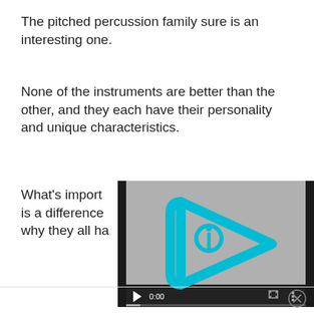The pitched percussion family sure is an interesting one.
None of the instruments are better than the other, and they each have their personality and unique characteristics.
What's import is a difference why they all ha
[Figure (screenshot): Video player thumbnail showing a cyan/blue triangular play button with the letter i inside, on a gray background. Controls show 0:00 timestamp, a play button, fullscreen icon, and options menu.]